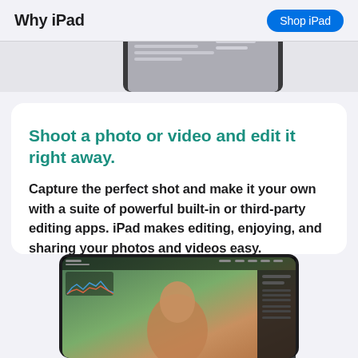Why iPad | Shop iPad
[Figure (screenshot): Partial view of an iPad device from above, showing a gray metallic back]
Shoot a photo or video and edit it right away.
Capture the perfect shot and make it your own with a suite of powerful built-in or third-party editing apps. iPad makes editing, enjoying, and sharing your photos and videos easy.
[Figure (screenshot): iPad displaying a photo editing app with a portrait photo of a person and editing tools sidebar]